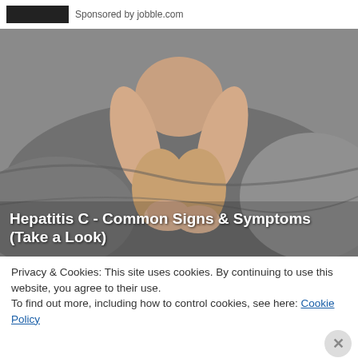[Figure (other): Partial screenshot of a sponsored ad bar with dark image placeholder and text 'Sponsored by jobble.com']
Sponsored by jobble.com
[Figure (photo): Person sitting on a bed hugging their knees to their chest, with gray bedding, suggesting illness or discomfort. Overlaid title text: Hepatitis C - Common Signs & Symptoms (Take a Look)]
Hepatitis C - Common Signs & Symptoms (Take a Look)
Privacy & Cookies: This site uses cookies. By continuing to use this website, you agree to their use.
To find out more, including how to control cookies, see here: Cookie Policy